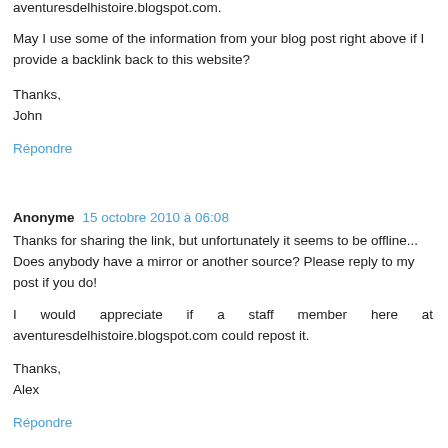aventuresdelhistoire.blogspot.com.
May I use some of the information from your blog post right above if I provide a backlink back to this website?
Thanks,
John
Répondre
Anonyme  15 octobre 2010 à 06:08
Thanks for sharing the link, but unfortunately it seems to be offline... Does anybody have a mirror or another source? Please reply to my post if you do!
I would appreciate if a staff member here at aventuresdelhistoire.blogspot.com could repost it.
Thanks,
Alex
Répondre